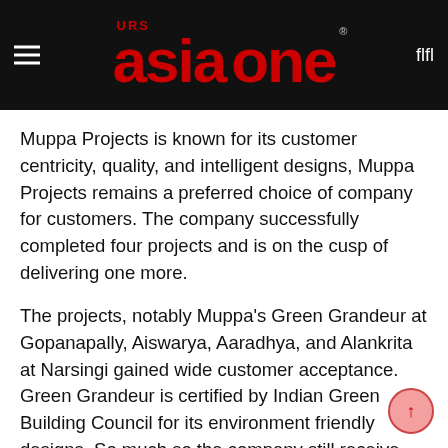URS Asia One
Muppa Projects is known for its customer centricity, quality, and intelligent designs, Muppa Projects remains a preferred choice of company for customers. The company successfully completed four projects and is on the cusp of delivering one more.
The projects, notably Muppa's Green Grandeur at Gopanapally, Aiswarya, Aaradhya, and Alankrita at Narsingi gained wide customer acceptance. Green Grandeur is certified by Indian Green Building Council for its environment friendly designs. So much so the company still receive enquiries from customers for new sales, despite saleout and completion of these projects. Timely delivery, efficient project designs, location closer